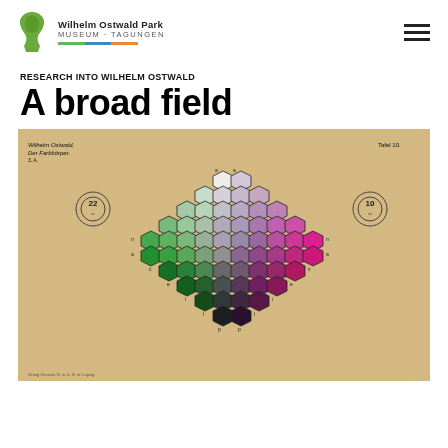Wilhelm Ostwald Park MUSEUM · TAGUNGEN
RESEARCH INTO WILHELM OSTWALD
A broad field
[Figure (illustration): Wilhelm Ostwald, Der Farbkörper, Tafel 10 — a diamond-shaped arrangement of hexagonal color swatches showing a green-to-purple color gradation, on a tan/kraft paper background with circular numbered labels (22 and 10) in the upper left and right areas.]